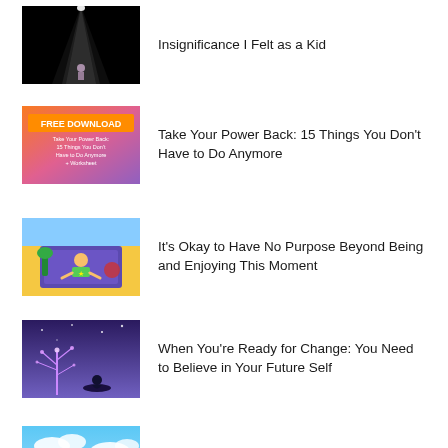[Figure (illustration): Dark black background with a small figure illuminated by a spotlight from above]
Insignificance I Felt as a Kid
[Figure (illustration): Orange/pink gradient background with FREE DOWNLOAD text and book cover for Take Your Power Back: 15 Things You Don't Have to Do Anymore + Worksheet]
Take Your Power Back: 15 Things You Don't Have to Do Anymore
[Figure (illustration): Colorful cartoon illustration of a child lying on a blanket outdoors on a yellow sunny background]
It's Okay to Have No Purpose Beyond Being and Enjoying This Moment
[Figure (illustration): Purple/blue night sky with a glowing tree and silhouette of a person sitting]
When You're Ready for Change: You Need to Believe in Your Future Self
[Figure (illustration): Illustration of a woman in a red dress standing by a blue sky and clouds near the ocean]
Confessions of an Extrovert: Why I Now Love My Alone Time